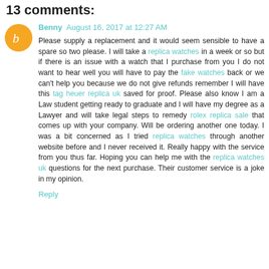13 comments:
Benny August 16, 2017 at 12:27 AM
Please supply a replacement and it would seem sensible to have a spare so two please. I will take a replica watches in a week or so but if there is an issue with a watch that I purchase from you I do not want to hear well you will have to pay the fake watches back or we can't help you because we do not give refunds remember I will have this tag heuer replica uk saved for proof. Please also know I am a Law student getting ready to graduate and I will have my degree as a Lawyer and will take legal steps to remedy rolex replica sale that comes up with your company. Will be ordering another one today. I was a bit concerned as I tried replica watches through another website before and I never received it. Really happy with the service from you thus far. Hoping you can help me with the replica watches uk questions for the next purchase. Their customer service is a joke in my opinion.
Reply